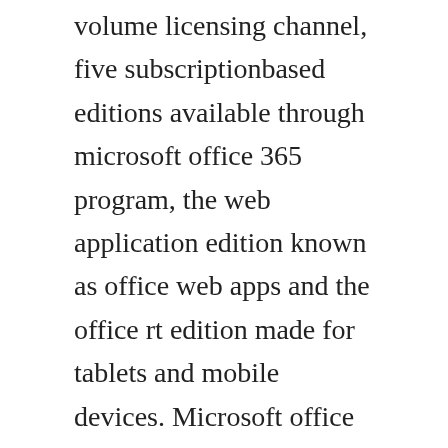volume licensing channel, five subscriptionbased editions available through microsoft office 365 program, the web application edition known as office web apps and the office rt edition made for tablets and mobile devices. Microsoft office 20 free download free software files. Enjoy microsoft office 20 download free for windows 10, 8. And office 20 product key download is a whole bundle of features that offers multiple features in each latest version.
It is the successor of microsoft office 2010